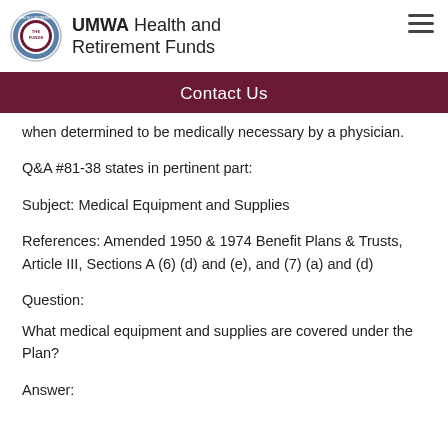UMWA Health and Retirement Funds
Contact Us
when determined to be medically necessary by a physician.
Q&A #81-38 states in pertinent part:
Subject: Medical Equipment and Supplies
References: Amended 1950 & 1974 Benefit Plans & Trusts, Article III, Sections A (6) (d) and (e), and (7) (a) and (d)
Question:
What medical equipment and supplies are covered under the Plan?
Answer: